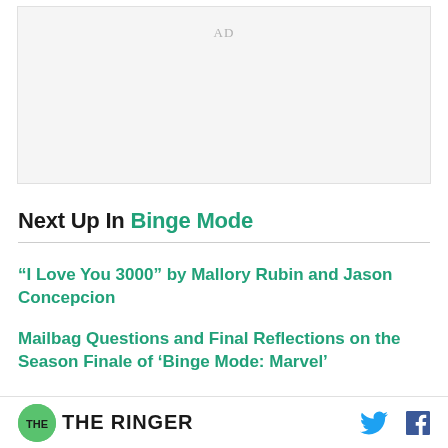[Figure (other): Advertisement placeholder box with 'AD' text centered]
Next Up In Binge Mode
“I Love You 3000” by Mallory Rubin and Jason Concepcion
Mailbag Questions and Final Reflections on the Season Finale of ‘Binge Mode: Marvel’
Spider-Man vs. Mysterio. Who Won ‘Spider-Man:
THE RINGER